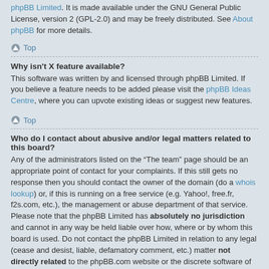phpBB Limited. It is made available under the GNU General Public License, version 2 (GPL-2.0) and may be freely distributed. See About phpBB for more details.
Top
Why isn't X feature available?
This software was written by and licensed through phpBB Limited. If you believe a feature needs to be added please visit the phpBB Ideas Centre, where you can upvote existing ideas or suggest new features.
Top
Who do I contact about abusive and/or legal matters related to this board?
Any of the administrators listed on the “The team” page should be an appropriate point of contact for your complaints. If this still gets no response then you should contact the owner of the domain (do a whois lookup) or, if this is running on a free service (e.g. Yahoo!, free.fr, f2s.com, etc.), the management or abuse department of that service. Please note that the phpBB Limited has absolutely no jurisdiction and cannot in any way be held liable over how, where or by whom this board is used. Do not contact the phpBB Limited in relation to any legal (cease and desist, liable, defamatory comment, etc.) matter not directly related to the phpBB.com website or the discrete software of phpBB itself. If you do email phpBB Limited about any third party use of this software then you should expect a terse response or no response at all.
Top